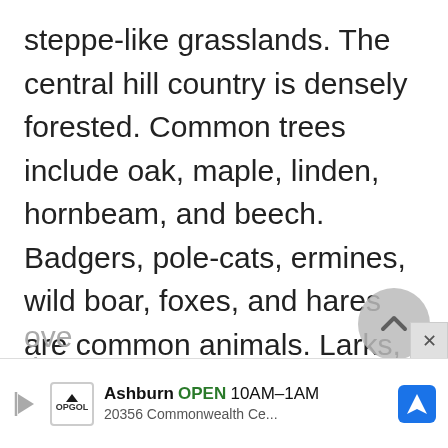steppe-like grasslands. The central hill country is densely forested. Common trees include oak, maple, linden, hornbeam, and beech. Badgers, pole-cats, ermines, wild boar, foxes, and hares are common animals. Larks, blackbirds, and jays are common birds. Carp, bream, trout, and pike populate the lakes and streams. As of 2002, there were at least 68 species of mammals, 175 species of birds, and
ove...
thr...
[Figure (other): Advertisement bar for Topgolf Ashburn showing OPEN 10AM-1AM, 20356 Commonwealth Ce... with navigation icon]